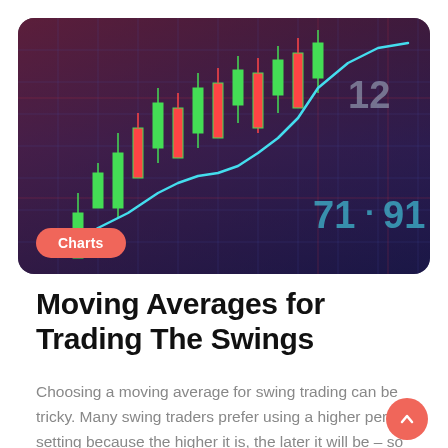[Figure (photo): Stock trading chart image showing green and red candlesticks, a cyan/blue moving average line trending upward, and a dark blue grid background with numbers 12, 71, 91 overlaid. Has a rounded rectangle border.]
Charts
Moving Averages for Trading The Swings
Choosing a moving average for swing trading can be tricky. Many swing traders prefer using a higher period setting because the higher it is, the later it will be – so the less it is the earlier it will be and vice versa. Y...